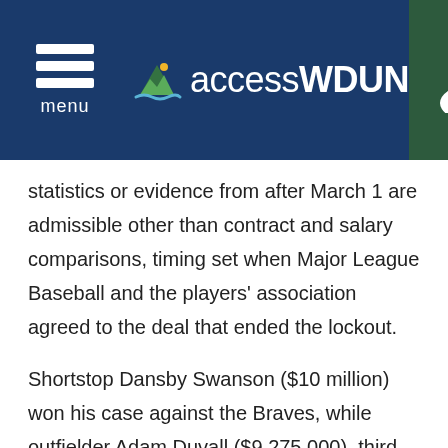menu | accessWDUN
statistics or evidence from after March 1 are admissible other than contract and salary comparisons, timing set when Major League Baseball and the players' association agreed to the deal that ended the lockout.
Shortstop Dansby Swanson ($10 million) won his case against the Braves, while outfielder Adam Duvall ($9,275,000), third baseman Austin Riley ($3.95 million) and injured reliever Luke Jackson ($3.6 million) lost.
Also losing was St. Louis outfielder Tyler O'Neill...